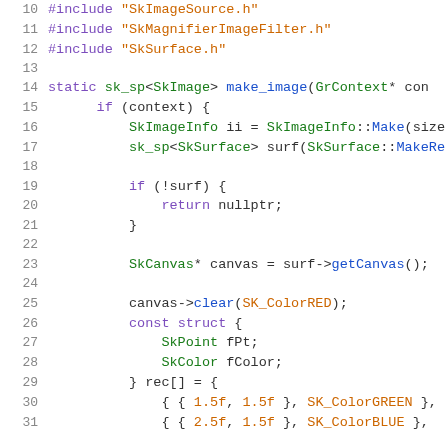10  #include "SkImageSource.h"
11  #include "SkMagnifierImageFilter.h"
12  #include "SkSurface.h"
13
14  static sk_sp<SkImage> make_image(GrContext* con
15      if (context) {
16          SkImageInfo ii = SkImageInfo::Make(size
17          sk_sp<SkSurface> surf(SkSurface::MakeRe
18
19          if (!surf) {
20              return nullptr;
21          }
22
23          SkCanvas* canvas = surf->getCanvas();
24
25          canvas->clear(SK_ColorRED);
26          const struct {
27              SkPoint fPt;
28              SkColor fColor;
29          } rec[] = {
30              { { 1.5f, 1.5f }, SK_ColorGREEN },
31              { { 2.5f, 1.5f }, SK_ColorBLUE },